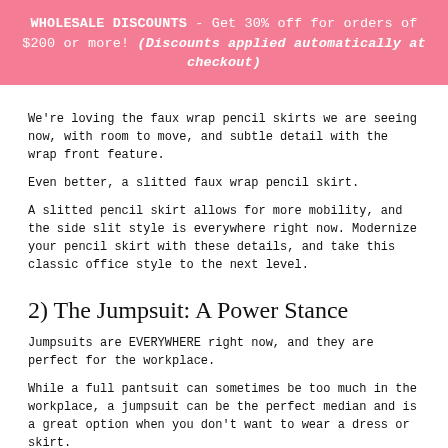WHOLESALE DISCOUNTS - Get 30% off for orders of $200 or more! (Discounts applied automatically at checkout)
We're loving the faux wrap pencil skirts we are seeing now, with room to move, and subtle detail with the wrap front feature.
Even better, a slitted faux wrap pencil skirt.
A slitted pencil skirt allows for more mobility, and the side slit style is everywhere right now. Modernize your pencil skirt with these details, and take this classic office style to the next level.
2) The Jumpsuit: A Power Stance
Jumpsuits are EVERYWHERE right now, and they are perfect for the workplace.
While a full pantsuit can sometimes be too much in the workplace, a jumpsuit can be the perfect median and is a great option when you don't want to wear a dress or skirt.